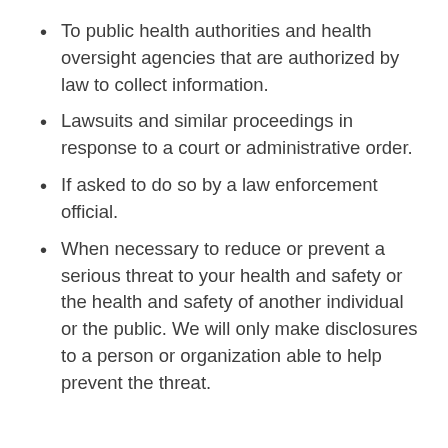To public health authorities and health oversight agencies that are authorized by law to collect information.
Lawsuits and similar proceedings in response to a court or administrative order.
If asked to do so by a law enforcement official.
When necessary to reduce or prevent a serious threat to your health and safety or the health and safety of another individual or the public. We will only make disclosures to a person or organization able to help prevent the threat.